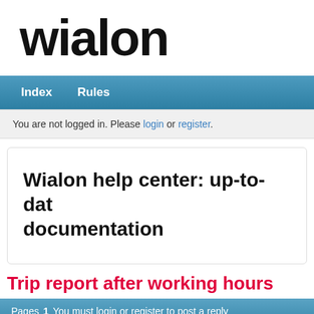[Figure (logo): Wialon logo in large bold black text]
Index   Rules
You are not logged in. Please login or register.
Wialon help center: up-to-date documentation
Trip report after working hours
Pages  1  You must login or register to post a reply